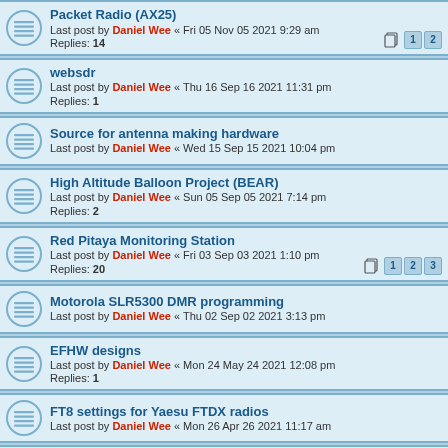Packet Radio (AX25)
Last post by Daniel Wee « Fri 05 Nov 05 2021 9:29 am
Replies: 14
websdr
Last post by Daniel Wee « Thu 16 Sep 16 2021 11:31 pm
Replies: 1
Source for antenna making hardware
Last post by Daniel Wee « Wed 15 Sep 15 2021 10:04 pm
High Altitude Balloon Project (BEAR)
Last post by Daniel Wee « Sun 05 Sep 05 2021 7:14 pm
Replies: 2
Red Pitaya Monitoring Station
Last post by Daniel Wee « Fri 03 Sep 03 2021 1:10 pm
Replies: 20
Motorola SLR5300 DMR programming
Last post by Daniel Wee « Thu 02 Sep 02 2021 3:13 pm
EFHW designs
Last post by Daniel Wee « Mon 24 May 24 2021 12:08 pm
Replies: 1
FT8 settings for Yaesu FTDX radios
Last post by Daniel Wee « Mon 26 Apr 26 2021 11:17 am
FT8 on Linux/Ubuntu
Last post by Daniel Wee « Mon 19 Apr 19 2021 6:15 pm
Setting up FT-DX10 with JTDX
Last post by Daniel Wee « Wed 10 Feb 10 2021 12:09 am